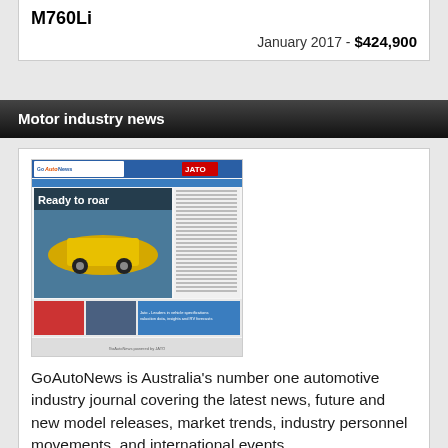M760Li
January 2017 - $424,900
Motor industry news
[Figure (screenshot): GoAutoNews newspaper front page featuring a yellow sports car with headline 'Ready to roar' and JATO logo]
GoAutoNews is Australia's number one automotive industry journal covering the latest news, future and new model releases, market trends, industry personnel movements, and international events.
Download page